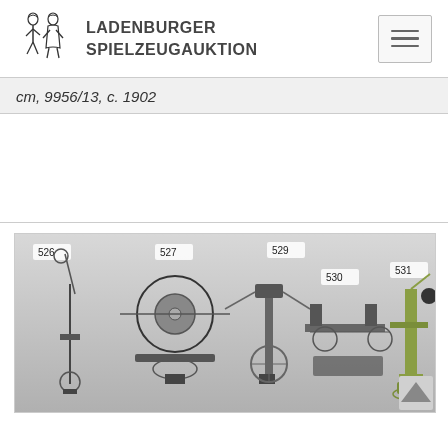LADENBURGER SPIELZEUGAUKTION
cm, 9956/13, c. 1902
[Figure (photo): Auction lot photo showing antique toy mechanical workshop machines numbered 526, 527, 529, 530, 531, including lathes, grinders and drill presses on stands]